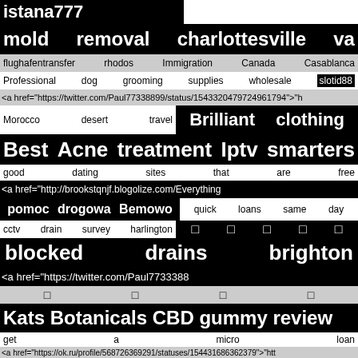istana777
mold removal charlottesville va
flughafentransfer rhodos   Immigration Canada Casablanca
Professional dog grooming supplies wholesale   slotid88
<a href="https://twitter.com/Paul77338899/status/1543320479724961794">"h
Morocco desert travel   Brilliant clothing
Best Acne treatment  Iptv smarters
good dating sites that are free
<a href="http://brookstqnjf.blogolize.com/Everything
pomoc drogowa Bemowo   quick loans same day
cctv drain survey harlington   □ □ □ □ □
blocked drains brighton
<a href="https://twitter.com/Paul773388
□   □   □   □
Kats Botanicals CBD gummy review
get a micro loan
<a href="https://ok.ru/profile/568726369291/statuses/154431686362379">"htt
curp consulta   Iranian restaurants   □□
<a href="http://1jules.com/__media__/js/netsoltrademark.php?d=vk.com%2Fv
elektroschrott kaufen   Nettoyage bijoux